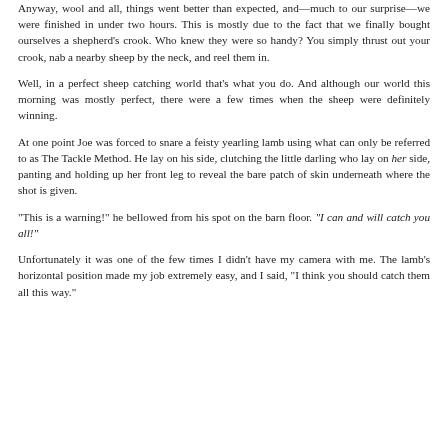Anyway, wool and all, things went better than expected, and—much to our surprise—we were finished in under two hours. This is mostly due to the fact that we finally bought ourselves a shepherd's crook. Who knew they were so handy? You simply thrust out your crook, nab a nearby sheep by the neck, and reel them in.
Well, in a perfect sheep catching world that's what you do. And although our world this morning was mostly perfect, there were a few times when the sheep were definitely winning.
At one point Joe was forced to snare a feisty yearling lamb using what can only be referred to as The Tackle Method. He lay on his side, clutching the little darling who lay on her side, panting and holding up her front leg to reveal the bare patch of skin underneath where the shot is given.
"This is a warning!" he bellowed from his spot on the barn floor. "I can and will catch you all!"
Unfortunately it was one of the few times I didn't have my camera with me. The lamb's horizontal position made my job extremely easy, and I said, "I think you should catch them all this way."